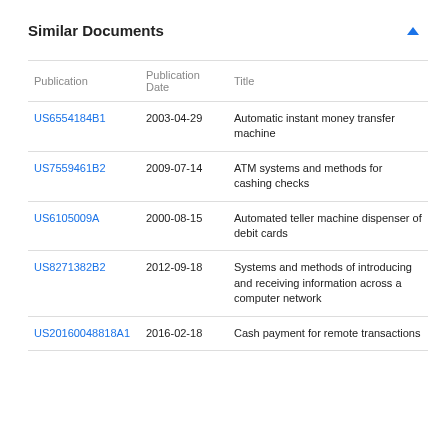Similar Documents
| Publication | Publication Date | Title |
| --- | --- | --- |
| US6554184B1 | 2003-04-29 | Automatic instant money transfer machine |
| US7559461B2 | 2009-07-14 | ATM systems and methods for cashing checks |
| US6105009A | 2000-08-15 | Automated teller machine dispenser of debit cards |
| US8271382B2 | 2012-09-18 | Systems and methods of introducing and receiving information across a computer network |
| US20160048818A1 | 2016-02-18 | Cash payment for remote transactions |